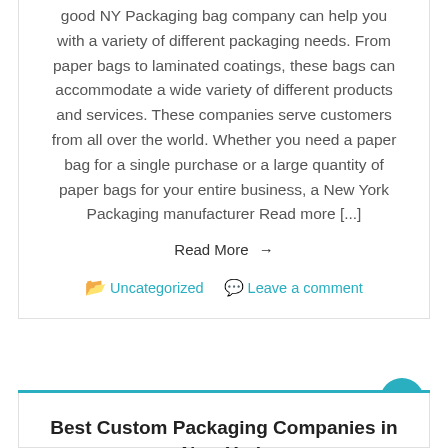good NY Packaging bag company can help you with a variety of different packaging needs. From paper bags to laminated coatings, these bags can accommodate a wide variety of different products and services. These companies serve customers from all over the world. Whether you need a paper bag for a single purchase or a large quantity of paper bags for your entire business, a New York Packaging manufacturer Read more [...]
Read More →
Uncategorized   Leave a comment
Best Custom Packaging Companies in New York